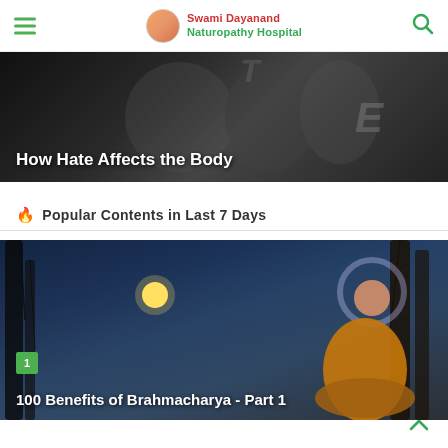Swami Dayanand Naturopathy Hospital
[Figure (photo): Dark black and white close-up of fingers with letters on them, with text overlay 'How Hate Affects the Body']
🔥 Popular Contents in Last 7 Days
[Figure (photo): Illustration of Buddha meditating under a tree at night with a full moon, numbered badge '1', with text overlay '100 Benefits of Brahmacharya - Part 1']